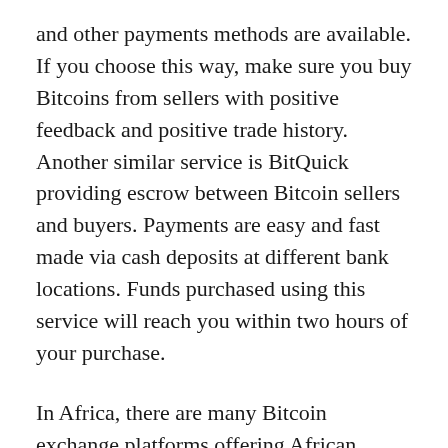and other payments methods are available. If you choose this way, make sure you buy Bitcoins from sellers with positive feedback and positive trade history. Another similar service is BitQuick providing escrow between Bitcoin sellers and buyers. Payments are easy and fast made via cash deposits at different bank locations. Funds purchased using this service will reach you within two hours of your purchase.
In Africa, there are many Bitcoin exchange platforms offering African players an opportunity to sell and buy Bitcoins as well as other digital currencies. Some of the most popular, well-established Bitcoin exchange platforms are NairaEx, Golix, Ice3X, and Luno. Since the beginning of 2021, several more exchange platforms are established including